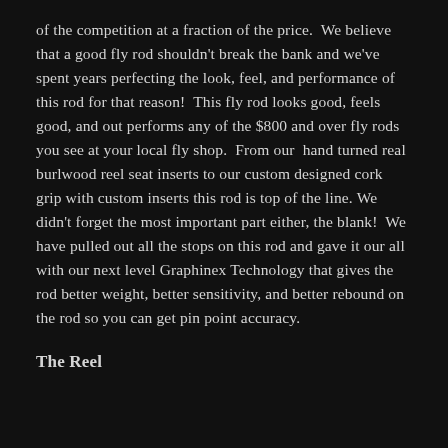of the competition at a fraction of the price.  We believe that a good fly rod shouldn't break the bank and we've spent years perfecting the look, feel, and performance of this rod for that reason!  This fly rod looks good, feels good, and out performs any of the $800 and over fly rods you see at your local fly shop.  From our  hand turned real burlwood reel seat inserts to our custom designed cork grip with custom inserts this rod is top of the line. We didn't forget the most important part either, the blank!  We have pulled out all the stops on this rod and gave it our all with our next level Graphinex Technology that gives the rod better weight, better sensitivity, and better rebound on the rod so you can get pin point accuracy.
The Reel